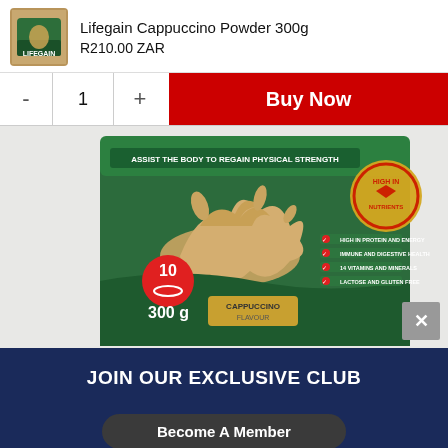Lifegain Cappuccino Powder 300g
R210.00 ZAR
[Figure (screenshot): Product controls row with minus button, quantity 1, plus button, and red Buy Now button]
[Figure (photo): Close-up photo of Lifegain Cappuccino Powder 300g tin showing cappuccino flavour splash, 10 servings, high in nutrients badge, and checklist: high in protein and energy, immune and digestive health, 14 vitamins and minerals, lactose and gluten free]
JOIN OUR EXCLUSIVE CLUB
Become A Member